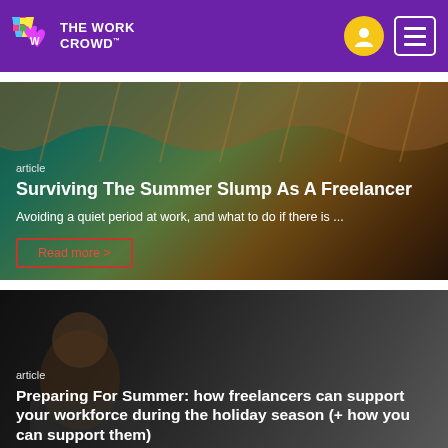THE WORK CROWD
[Figure (photo): Tropical beach bar scene with thatched roof and ocean view, article card background for 'Surviving The Summer Slump As A Freelancer']
article
Surviving The Summer Slump As A Freelancer
Avoiding a quiet period at work, and what to do if there is ...
Read more >
[Figure (photo): Man with beard working on laptop, dark background, article card for 'Preparing For Summer: how freelancers can support your workforce during the holiday season (+ how you can support them)']
article
Preparing For Summer: how freelancers can support your workforce during the holiday season (+ how you can support them)